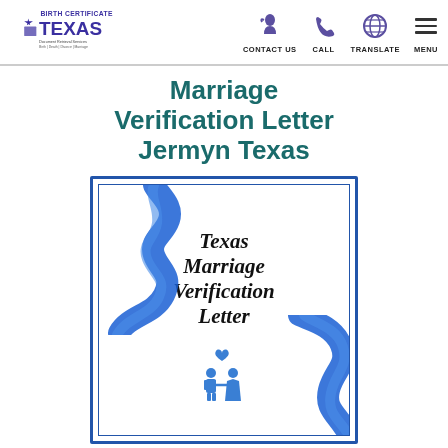Birth Certificate Texas — CONTACT US | CALL | TRANSLATE | MENU
Marriage Verification Letter Jermyn Texas
[Figure (illustration): An illustrated certificate card with blue ribbon decoration, gothic-font text 'Texas Marriage Verification Letter', and a couple icon with heart, surrounded by a double blue border frame.]